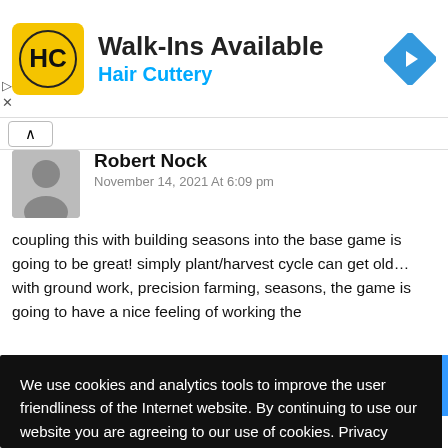[Figure (logo): Hair Cuttery advertisement banner with HC logo, Walk-Ins Available text, and navigation arrow icon]
Robert Nock
November 14, 2021 At 6:09 pm
coupling this with building seasons into the base game is going to be great! simply plant/harvest cycle can get old… with ground work, precision farming, seasons, the game is going to have a nice feeling of working the
We use cookies and analytics tools to improve the user friendliness of the Internet website. By continuing to use our website you are agreeing to our use of cookies. Privacy Policy
More information
Accept
was not in the game